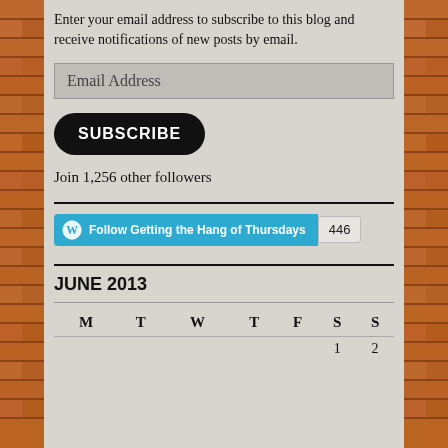Enter your email address to subscribe to this blog and receive notifications of new posts by email.
[Figure (other): Email Address input field (greyed out placeholder text box)]
[Figure (other): SUBSCRIBE button — black rounded rectangle with white bold text]
Join 1,256 other followers
[Figure (other): WordPress Follow button: cyan button with WordPress logo and text 'Follow Getting the Hang of Thursdays', alongside a count badge showing 446]
JUNE 2013
| M | T | W | T | F | S | S |
| --- | --- | --- | --- | --- | --- | --- |
|  |  |  |  |  | 1 | 2 |